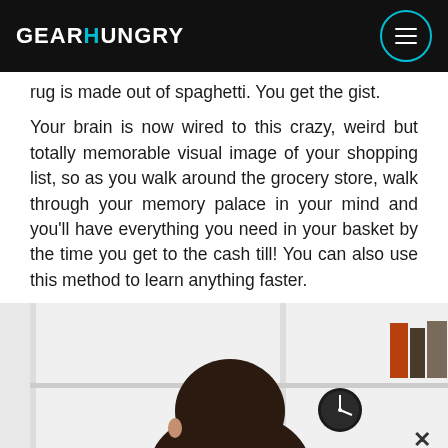GEARHUNGRY
rug is made out of spaghetti. You get the gist.
Your brain is now wired to this crazy, weird but totally memorable visual image of your shopping list, so as you walk around the grocery store, walk through your memory palace in your mind and you'll have everything you need in your basket by the time you get to the cash till! You can also use this method to learn anything faster.
[Figure (photo): Person seen from behind, sitting and looking at a white bookshelf with books, a clock, and other items.]
[Figure (other): eBay Motors advertisement banner: 'The right parts at the right prices. Let's ride!' on a magenta background with arrow icon.]